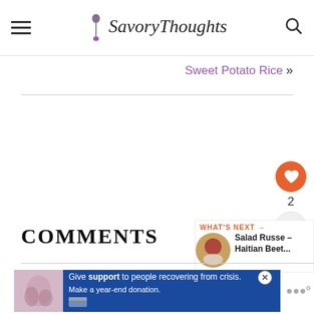Savory Thoughts
Sweet Potato Rice »
2
COMMENTS
WHAT'S NEXT → Salad Russe – Haitian Beet...
[Figure (other): Advertisement: Give support to people recovering from crisis. Make a year-end donation.]